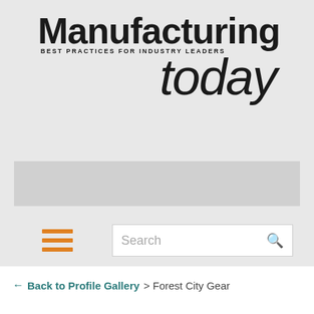[Figure (logo): Manufacturing Today magazine logo with tagline 'BEST PRACTICES FOR INDUSTRY LEADERS']
[Figure (other): Gray advertisement banner placeholder]
[Figure (screenshot): Navigation bar with orange hamburger menu icon and search box]
← Back to Profile Gallery > Forest City Gear